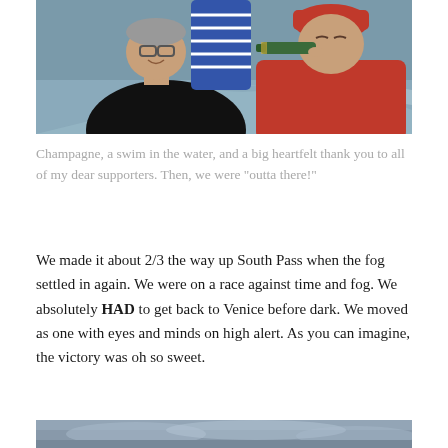[Figure (photo): Two people on a boat on the water. Person on left wears dark jacket and glasses, smiling. Person on right wears red hoodie/fleece and is drinking from a champagne bottle. Water wake visible in background.]
Champagne, a swim in the water, and a big heartfelt thank you to all of my dear supporters. Then, we were "outta there!"
We made it about 2/3 the way up South Pass when the fog settled in again. We were on a race against time and fog. We absolutely HAD to get back to Venice before dark. We moved as one with eyes and minds on high alert. As you can imagine, the victory was oh so sweet.
[Figure (photo): Bottom portion of a photo showing foggy/misty water or landscape scene, partially visible at bottom of page.]